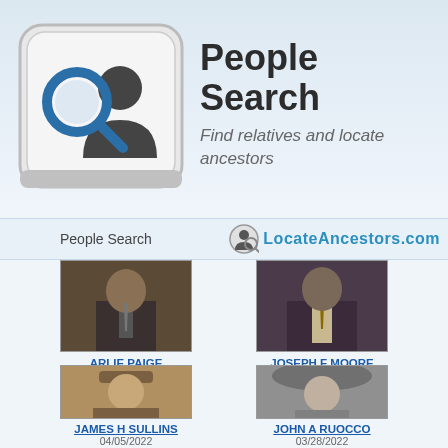[Figure (logo): People Search logo: keyboard key icon with magnifying glass and person silhouette]
People Search
Find relatives and locate ancestors
People Search   LocateAncestors.com
[Figure (photo): Vintage photo of man in suit, cropped at chest level - ARLIE PAIGE, 04/25/2022]
ARLIE PAIGE
04/25/2022
[Figure (photo): Vintage photo of man in suit, cropped at chest level - JOSEPH F MOORE, 04/20/2022]
JOSEPH F MOORE
04/20/2022
[Figure (photo): Sepia vintage military photo of young man - JAMES H SULLINS, 04/05/2022]
JAMES H SULLINS
04/05/2022
[Figure (photo): Black and white photo of smiling young man - JOHN A RUOCCO, 03/28/2022]
JOHN A RUOCCO
03/28/2022